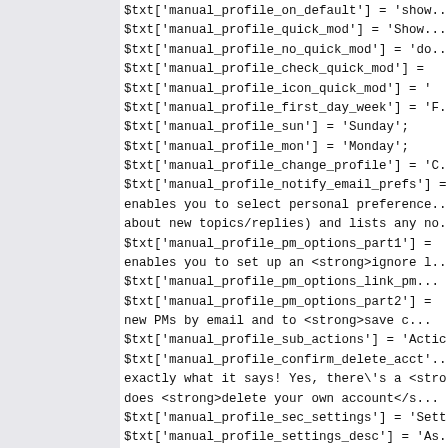$txt['manual_profile_on_default'] = 'show... $txt['manual_profile_quick_mod'] = 'Show... $txt['manual_profile_no_quick_mod'] = 'do... $txt['manual_profile_check_quick_mod'] = ... $txt['manual_profile_icon_quick_mod'] = '... $txt['manual_profile_first_day_week'] = 'F... $txt['manual_profile_sun'] = 'Sunday'; $txt['manual_profile_mon'] = 'Monday'; $txt['manual_profile_change_profile'] = 'C... $txt['manual_profile_notify_email_prefs'] = ... enables you to select personal preference... about new topics/replies) and lists any no... $txt['manual_profile_pm_options_part1'] = ... enables you to set up an <strong>ignore l... $txt['manual_profile_pm_options_link_pm... $txt['manual_profile_pm_options_part2'] = ... new PMs by email and to <strong>save c... $txt['manual_profile_sub_actions'] = 'Actic... $txt['manual_profile_confirm_delete_acct'... exactly what it says! Yes, there\'s a <stro... does <strong>delete your own account</s... $txt['manual_profile_sec_settings'] = 'Sett... $txt['manual_profile_settings_desc'] = 'As... above from other members\' profiles, som... executable by) admins only:'; $txt['manual_profile_track_user'] = 'Track...